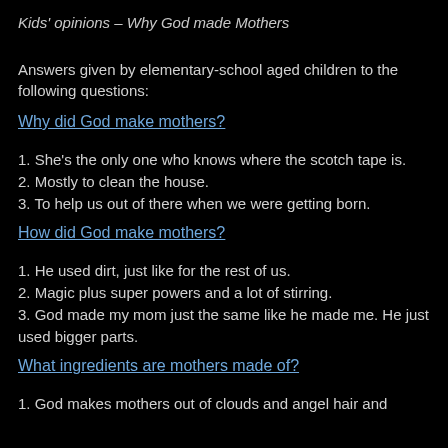Kids' opinions – Why God made Mothers
Answers given by elementary-school aged children to the following questions:
Why did God make mothers?
1. She's the only one who knows where the scotch tape is.
2. Mostly to clean the house.
3. To help us out of there when we were getting born.
How did God make mothers?
1. He used dirt, just like for the rest of us.
2. Magic plus super powers and a lot of stirring.
3. God made my mom just the same like he made me. He just used bigger parts.
What ingredients are mothers made of?
1. God makes mothers out of clouds and angel hair and